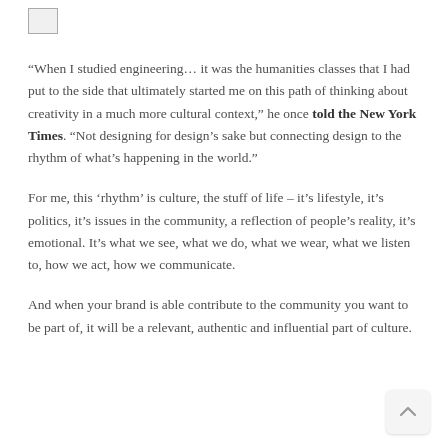[Figure (logo): Small image/logo icon in top-left corner]
“When I studied engineering… it was the humanities classes that I had put to the side that ultimately started me on this path of thinking about creativity in a much more cultural context,” he once told the New York Times. “Not designing for design’s sake but connecting design to the rhythm of what’s happening in the world.”
For me, this ‘rhythm’ is culture, the stuff of life – it’s lifestyle, it’s politics, it’s issues in the community, a reflection of people’s reality, it’s emotional. It’s what we see, what we do, what we wear, what we listen to, how we act, how we communicate.
And when your brand is able contribute to the community you want to be part of, it will be a relevant, authentic and influential part of culture.